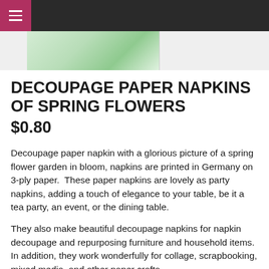≡
[Figure (photo): Partial product image of decoupage paper napkins with spring flowers, shown at top of page]
DECOUPAGE PAPER NAPKINS OF SPRING FLOWERS
$0.80
Decoupage paper napkin with a glorious picture of a spring flower garden in bloom, napkins are printed in Germany on 3-ply paper.  These paper napkins are lovely as party napkins, adding a touch of elegance to your table, be it a tea party, an event, or the dining table.
They also make beautiful decoupage napkins for napkin decoupage and repurposing furniture and household items. In addition, they work wonderfully for collage, scrapbooking, mixed media, and other paper crafts.